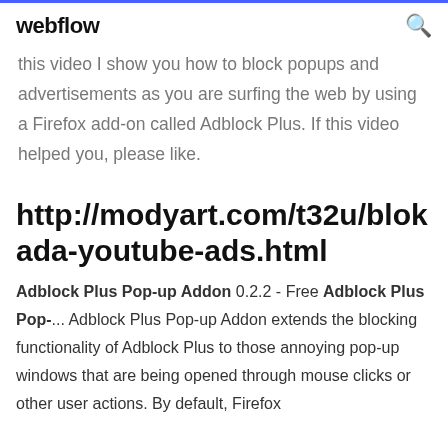webflow
this video I show you how to block popups and advertisements as you are surfing the web by using a Firefox add-on called Adblock Plus. If this video helped you, please like.
http://modyart.com/t32u/blokada-youtube-ads.html
Adblock Plus Pop-up Addon 0.2.2 - Free Adblock Plus Pop-... Adblock Plus Pop-up Addon extends the blocking functionality of Adblock Plus to those annoying pop-up windows that are being opened through mouse clicks or other user actions. By default, Firefox